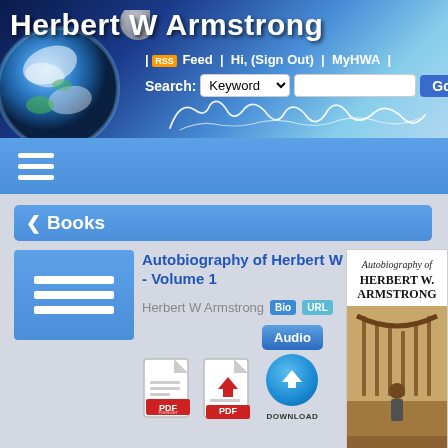Herbert W Armstrong
| Feed | Hi, (Sign Out) | MyHWA |
Search: Keyword [dropdown] [text input] Go
[Figure (screenshot): Website navigation bar with hamburger menu icon on blue background]
< Books
[Figure (screenshot): Blue box with three horizontal white lines (hamburger/list icon)]
Autobiography of Herbert W Armstrong - Volume 1
Herbert W Armstrong  Bio  URL
[Figure (screenshot): PDF icon, PDF download icon with red arrow, Audio button, Download button with blue arrow circle]
[Figure (photo): Book cover thumbnail: Autobiography of Herbert W. Armstrong]